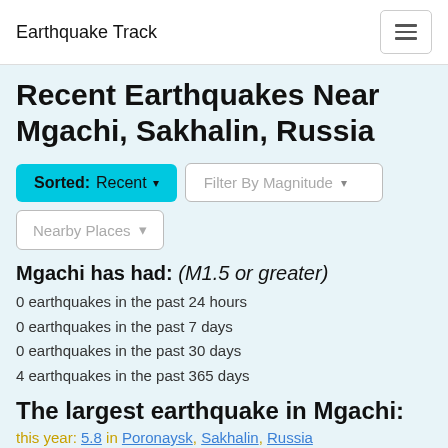Earthquake Track
Recent Earthquakes Near Mgachi, Sakhalin, Russia
Mgachi has had: (M1.5 or greater)
0 earthquakes in the past 24 hours
0 earthquakes in the past 7 days
0 earthquakes in the past 30 days
4 earthquakes in the past 365 days
The largest earthquake in Mgachi:
this year: 5.8 in Poronaysk, Sakhalin, Russia